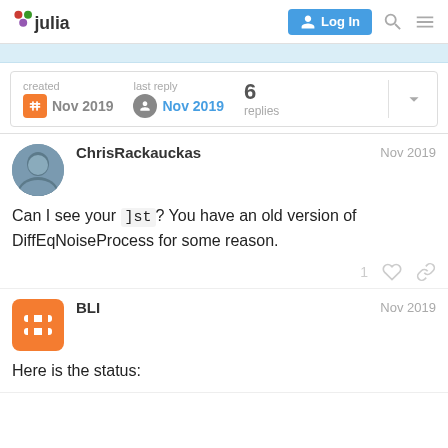Julia Discourse - Log In
created Nov 2019  last reply Nov 2019  6 replies
ChrisRackauckas  Nov 2019
Can I see your ]st? You have an old version of DiffEqNoiseProcess for some reason.
BLI  Nov 2019
Here is the status: